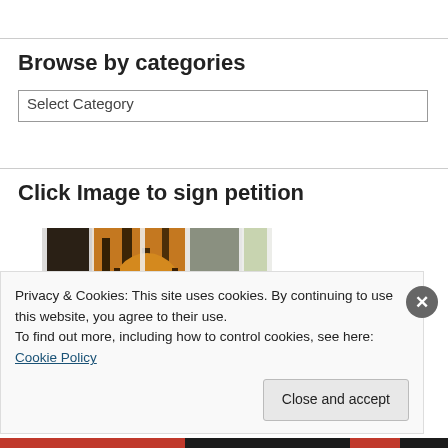Browse by categories
Select Category
Click Image to sign petition
[Figure (photo): A tiger behind bars/cage, viewed through vertical metal bars. The tiger's face and orange-black striped body are visible through multiple cage bars creating a striped visual effect.]
Privacy & Cookies: This site uses cookies. By continuing to use this website, you agree to their use.
To find out more, including how to control cookies, see here: Cookie Policy
Close and accept